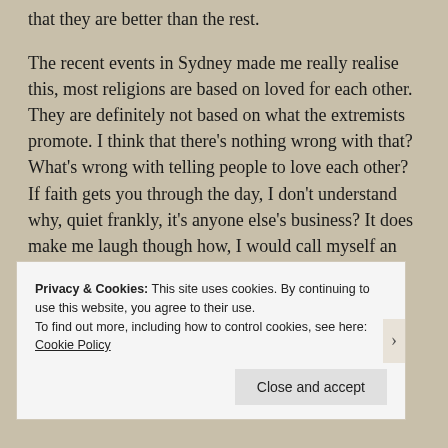that they are better than the rest.
The recent events in Sydney made me really realise this, most religions are based on loved for each other. They are definitely not based on what the extremists promote. I think that there’s nothing wrong with that? What’s wrong with telling people to love each other? If faith gets you through the day, I don’t understand why, quiet frankly, it’s anyone else’s business? It does make me laugh though how, I would call myself an “Agnostic” I have to constantly point out to my religious and atheist friends how similar they really are.
Privacy & Cookies: This site uses cookies. By continuing to use this website, you agree to their use.
To find out more, including how to control cookies, see here: Cookie Policy
Close and accept